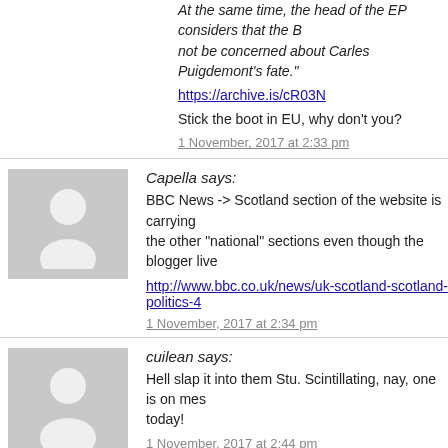At the same time, the head of the EP considers that the B... not be concerned about Carles Puigdemont's fate."
https://archive.is/cR03N
Stick the boot in EU, why don't you?
1 November, 2017 at 2:33 pm
Capella says:
BBC News -> Scotland section of the website is carrying the other "national" sections even though the blogger live...
http://www.bbc.co.uk/news/uk-scotland-scotland-politics-4...
1 November, 2017 at 2:34 pm
cuilean says:
Hell slap it into them Stu. Scintillating, nay, one is on mes... today!
1 November, 2017 at 2:44 pm
manandboy says:
'No further action' in Stu's case means further act...